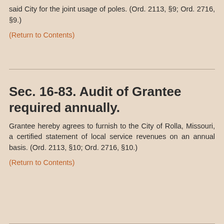said City for the joint usage of poles. (Ord. 2113, §9; Ord. 2716, §9.)
(Return to Contents)
Sec. 16-83. Audit of Grantee required annually.
Grantee hereby agrees to furnish to the City of Rolla, Missouri, a certified statement of local service revenues on an annual basis. (Ord. 2113, §10; Ord. 2716, §10.)
(Return to Contents)